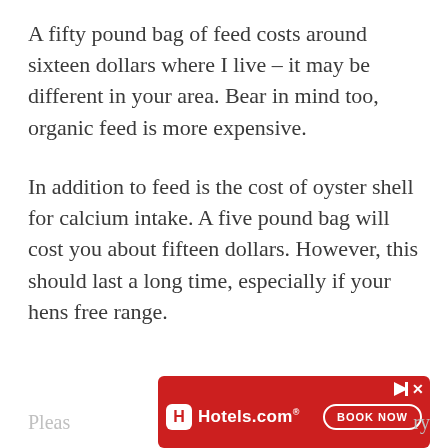A fifty pound bag of feed costs around sixteen dollars where I live – it may be different in your area. Bear in mind too, organic feed is more expensive.
In addition to feed is the cost of oyster shell for calcium intake. A five pound bag will cost you about fifteen dollars. However, this should last a long time, especially if your hens free range.
[Figure (other): Hotels.com advertisement banner with red background, Hotels.com logo with H icon, and a BOOK NOW button]
Pleas… …ry